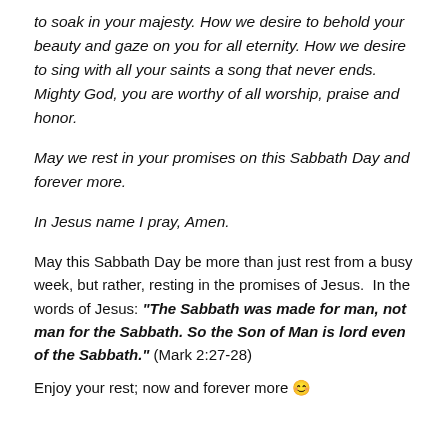to soak in your majesty. How we desire to behold your beauty and gaze on you for all eternity. How we desire to sing with all your saints a song that never ends. Mighty God, you are worthy of all worship, praise and honor.
May we rest in your promises on this Sabbath Day and forever more.
In Jesus name I pray, Amen.
May this Sabbath Day be more than just rest from a busy week, but rather, resting in the promises of Jesus. In the words of Jesus: “The Sabbath was made for man, not man for the Sabbath. So the Son of Man is lord even of the Sabbath.” (Mark 2:27-28)
Enjoy your rest; now and forever more 🙂